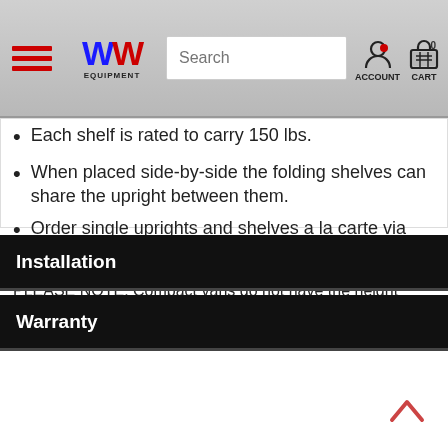WorkPro Equipment — Navigation bar with logo, search, account, cart
Each shelf is rated to carry 150 lbs.
When placed side-by-side the folding shelves can share the upright between them.
Order single uprights and shelves a la carte via PNs 48007, 48367, 48487, and 48607.
PLEASE NOTE: Compact vans do not have the height required for two shelves. To upfit these vehicles, build your shelf from individual parts.
Installation
Warranty